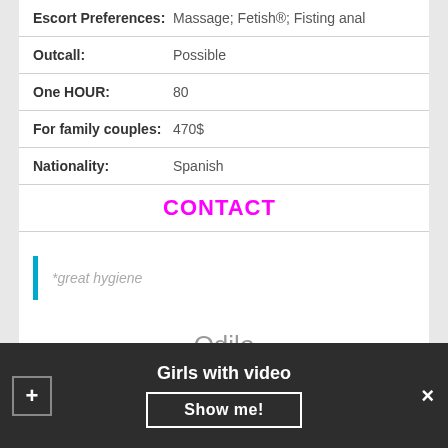| Field | Value |
| --- | --- |
| Escort Preferences: | Massage; Fetish®; Fisting anal |
| Outcall: | Possible |
| One HOUR: | 80 |
| For family couples: | 470$ |
| Nationality: | Spanish |
CONTACT
*great hygiene
Odile
Girls with video
Show me!